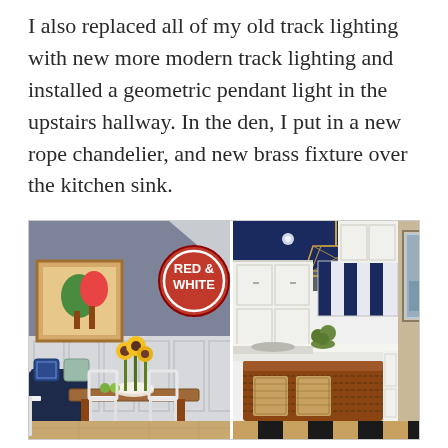I also replaced all of my old track lighting with new more modern track lighting and installed a geometric pendant light in the upstairs hallway. In the den, I put in a new rope chandelier, and new brass fixture over the kitchen sink.
[Figure (photo): Two side-by-side interior home photos. Left: a dining nook with dark navy walls, white beadboard wainscoting, a wooden dining table with white metal chairs, a bench with blue patterned pillows, sunflowers in a vase, and a red circular 'RED & WHITE' sign on the wall. Right: a kitchen with a dark navy ceiling, a geometric brass pendant light, white cabinets, a striped roman shade, a wooden kitchen island with rope accents and baskets, a checkerboard floor, and framed art on the walls.]